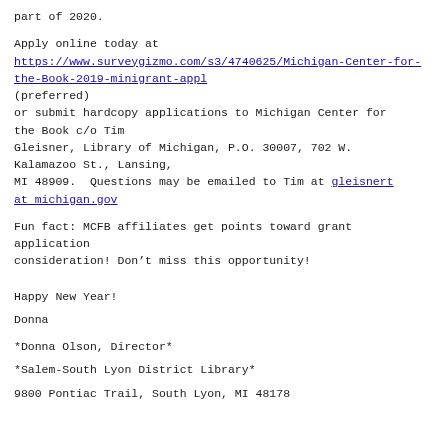part of 2020.
Apply online today at
https://www.surveygizmo.com/s3/4740625/Michigan-Center-for-the-Book-2019-minigrant-appl
(preferred)
or submit hardcopy applications to Michigan Center for the Book c/o Tim
Gleisner, Library of Michigan, P.O. 30007, 702 W. Kalamazoo St., Lansing,
MI 48909.  Questions may be emailed to Tim at gleisnert at michigan.gov
Fun fact: MCFB affiliates get points toward grant application
consideration! Don’t miss this opportunity!
Happy New Year!
Donna
*Donna Olson, Director*
*Salem-South Lyon District Library*
9800 Pontiac Trail, South Lyon, MI 48178